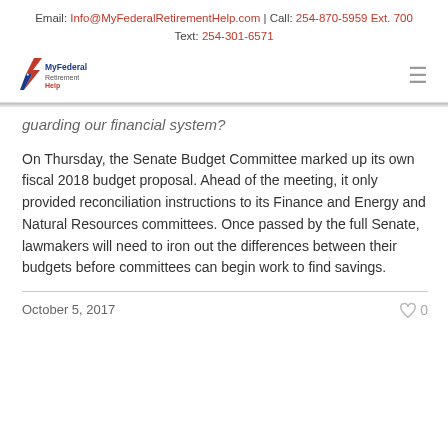Email: Info@MyFederalRetirementHelp.com | Call: 254-870-5959 Ext. 700
Text: 254-301-6571
[Figure (logo): MyFederal Retirement Help logo with lightning bolt and American flag motif]
guarding our financial system?
On Thursday, the Senate Budget Committee marked up its own fiscal 2018 budget proposal. Ahead of the meeting, it only provided reconciliation instructions to its Finance and Energy and Natural Resources committees. Once passed by the full Senate, lawmakers will need to iron out the differences between their budgets before committees can begin work to find savings.
October 5, 2017   ♡ 0